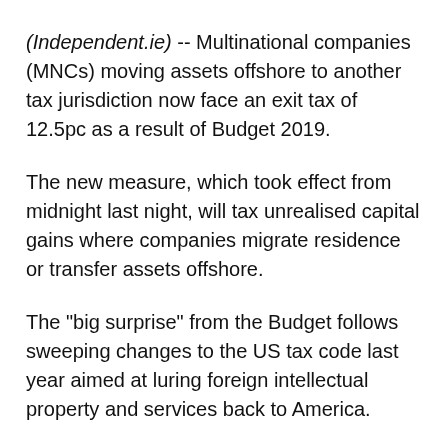(Independent.ie) -- Multinational companies (MNCs) moving assets offshore to another tax jurisdiction now face an exit tax of 12.5pc as a result of Budget 2019.
The new measure, which took effect from midnight last night, will tax unrealised capital gains where companies migrate residence or transfer assets offshore.
The "big surprise" from the Budget follows sweeping changes to the US tax code last year aimed at luring foreign intellectual property and services back to America.
The new exit tax regime, which is not expected to yield any revenue in the foreseeable future,